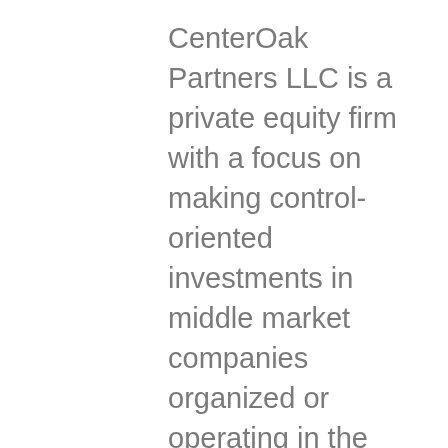CenterOak Partners LLC is a private equity firm with a focus on making control-oriented investments in middle market companies organized or operating in the United States. The Firm specializes in three key industry sectors: Industrial Growth, Consumer, and Business Services. Based in Dallas, Texas, the investment and portfolio management team has a strong historical track record creating significant value through operational improvement. CenterOak and its senior leaders have managed over $2.2 billion of equity capital commitments across CenterOak Fund